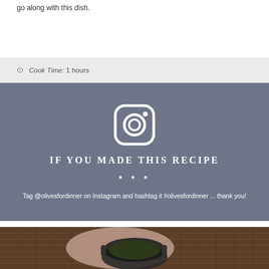go along with this dish.
Cook Time: 1 hours
[Figure (infographic): Instagram promotional banner with Instagram logo icon, heading 'IF YOU MADE THIS RECIPE', three dots, and text 'Tag @olivesfordinner on Instagram and hashtag it #olivesfordinner ... thank you!']
[Figure (photo): Overhead photo of a dark curry or stew in a metal bowl on a bamboo mat with a pink floral cloth napkin]